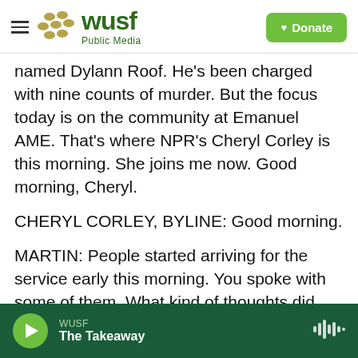[Figure (logo): WUSF Public Media logo with hamburger menu icon on the left and a green Donate button on the right]
named Dylann Roof. He's been charged with nine counts of murder. But the focus today is on the community at Emanuel AME. That's where NPR's Cheryl Corley is this morning. She joins me now. Good morning, Cheryl.
CHERYL CORLEY, BYLINE: Good morning.
MARTIN: People started arriving for the service early this morning. You spoke with some of them. What kind of thoughts did they share with you?
CORLEY: Well, people said they wanted to come really to show their support, and many just weren't
WUSF The Takeaway